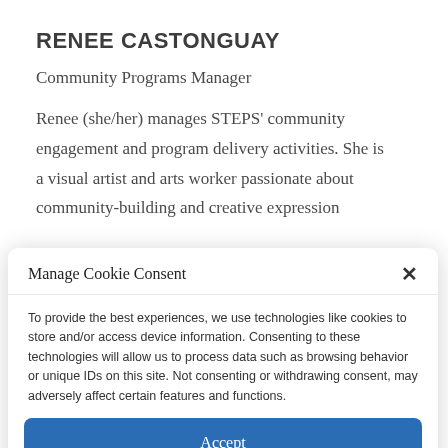RENEE CASTONGUAY
Community Programs Manager
Renee (she/her) manages STEPS' community engagement and program delivery activities. She is a visual artist and arts worker passionate about community-building and creative expression
Manage Cookie Consent
To provide the best experiences, we use technologies like cookies to store and/or access device information. Consenting to these technologies will allow us to process data such as browsing behavior or unique IDs on this site. Not consenting or withdrawing consent, may adversely affect certain features and functions.
Accept
Cookie Policy